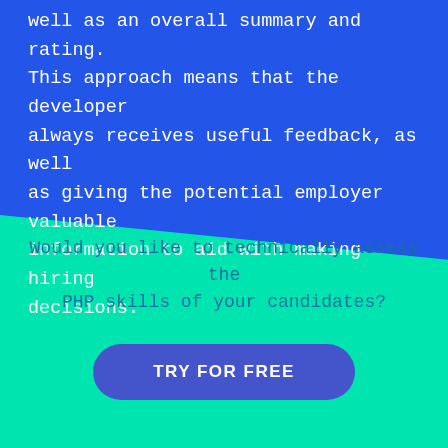well as an overall summary and rating. This approach means that the developer always receives useful feedback, as well as giving the potential employer valuable information to aid with making hiring decisions.
Would you like to technically assess the PHP skills of your candidates?
TRY FOR FREE